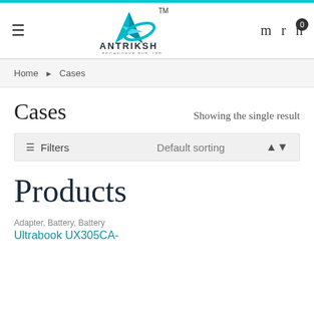[Figure (logo): Antriksh Technosys Pvt. Ltd. logo with teal star/arrow graphic and TM mark]
Home > Cases
Cases
Showing the single result
Filters  Default sorting
Products
Adapter, Battery, Battery
Ultrabook UX305CA-